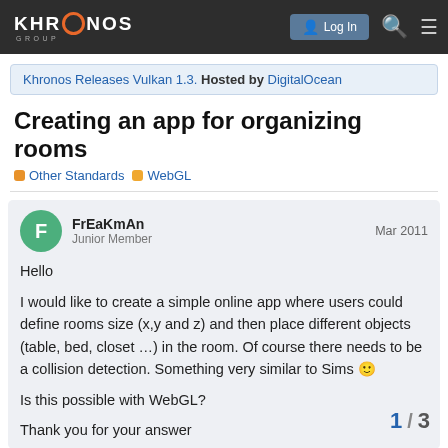Khronos Group — Log In
Khronos Releases Vulkan 1.3. Hosted by DigitalOcean
Creating an app for organizing rooms
Other Standards   WebGL
FrEaKmAn  Junior Member  Mar 2011
Hello

I would like to create a simple online app where users could define rooms size (x,y and z) and then place different objects (table, bed, closet …) in the room. Of course there needs to be a collision detection. Something very similar to Sims 🙂

Is this possible with WebGL?

Thank you for your answer
1 / 3